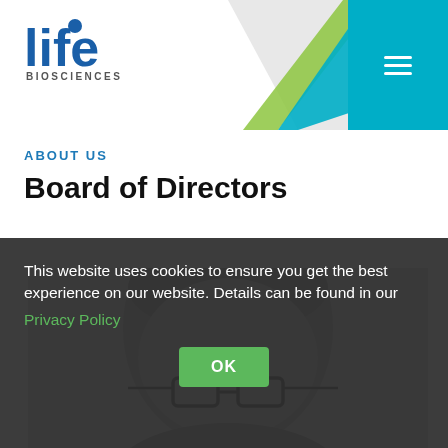[Figure (logo): Life Biosciences logo in blue with stylized letters and 'BIOSCIENCES' text below]
ABOUT US
Board of Directors
[Figure (photo): Black and white portrait photo of a man wearing glasses, showing top of head to below glasses]
This website uses cookies to ensure you get the best experience on our website. Details can be found in our Privacy Policy